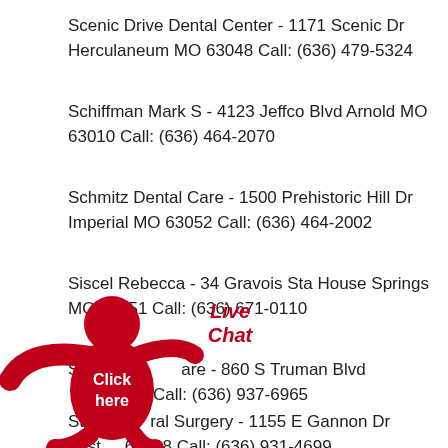Scenic Drive Dental Center - 1171 Scenic Dr Herculaneum MO 63048 Call: (636) 479-5324
Schiffman Mark S - 4123 Jeffco Blvd Arnold MO 63010 Call: (636) 464-2070
Schmitz Dental Care - 1500 Prehistoric Hill Dr Imperial MO 63052 Call: (636) 464-2002
Siscel Rebecca - 34 Gravois Sta House Springs MO 63051 Call: (636) 671-0110
Smile [Live Chat overlay] Dental Care - 860 S Truman Blvd [MO] 63028 Call: (636) 937-6965
St [figure] Oral Surgery - 1155 E Gannon Dr Festus MO 63028 Call: (636) 931-4699
[Figure (illustration): Red stick figure with arms raised and text 'Live Chat' above in red, with 'Click here' written on the body in white text]